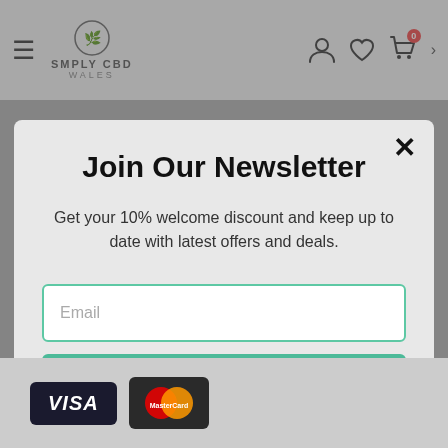[Figure (screenshot): Website navigation bar with hamburger menu, Simply CBD Wales logo, and icons for account, wishlist, and cart (badge showing 0) with a chevron.]
Join Our Newsletter
Get your 10% welcome discount and keep up to date with latest offers and deals.
Email
Subscribe
[Figure (screenshot): Bottom strip showing VISA and MasterCard payment logos on dark backgrounds.]